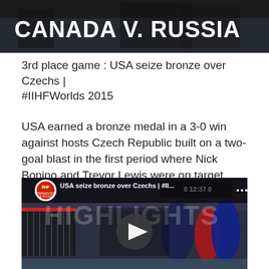[Figure (photo): Hockey players on ice with text overlay reading 'CANADA V. RUSSIA']
3rd place game : USA seize bronze over Czechs | #IIHFWorlds 2015
USA earned a bronze medal in a 3-0 win against hosts Czech Republic built on a two-goal blast in the first period where Nick Bonino and Trevor Lewis were on target before Charlie Coyle wrapped it up in the third.
[Figure (screenshot): YouTube video thumbnail showing hockey highlights with title 'USA seize bronze over Czechs | #II...' and IIHF logo, play button visible over hockey action shot]